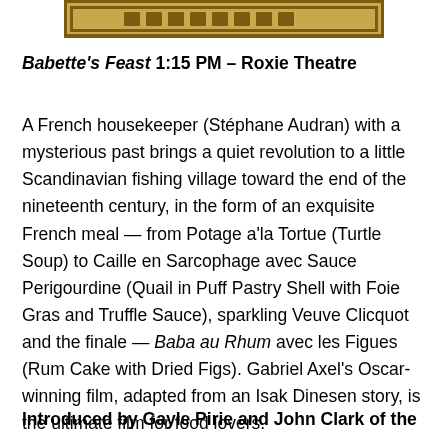[Figure (illustration): Decorative banner/logo with brown and tan horizontal bars forming a header graphic]
Babette's Feast  1:15 PM – Roxie Theatre
A French housekeeper (Stéphane Audran) with a mysterious past brings a quiet revolution to a little Scandinavian fishing village toward the end of the nineteenth century, in the form of an exquisite French meal — from Potage a'la Tortue (Turtle Soup) to Caille en Sarcophage avec Sauce Perigourdine (Quail in Puff Pastry Shell with Foie Gras and Truffle Sauce), sparkling Veuve Clicquot and the finale — Baba au Rhum avec les Figues (Rum Cake with Dried Figs). Gabriel Axel's Oscar-winning film, adapted from an Isak Dinesen story, is the ultimate film for food lovers.
Introduced by Gayle Pirie and John Clark of the